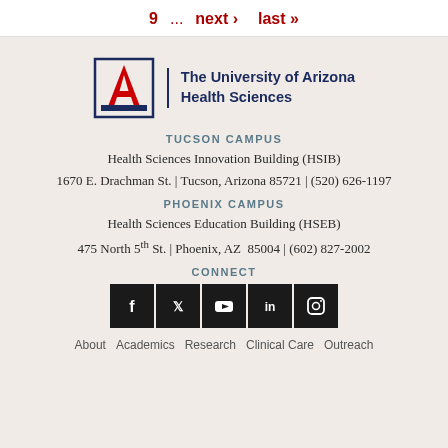9 … next › last »
[Figure (logo): University of Arizona Health Sciences logo with block A and text]
TUCSON CAMPUS
Health Sciences Innovation Building (HSIB)
1670 E. Drachman St. | Tucson, Arizona 85721 | (520) 626-1197
PHOENIX CAMPUS
Health Sciences Education Building (HSEB)
475 North 5th St. | Phoenix, AZ  85004 | (602) 827-2002
CONNECT
[Figure (infographic): Social media icons: Facebook, Twitter, YouTube, LinkedIn, Instagram]
About  Academics  Research  Clinical Care  Outreach